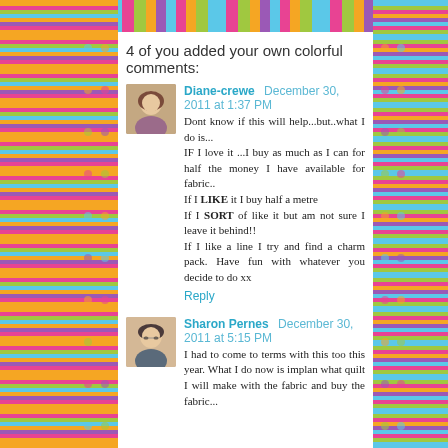4 of you added your own colorful comments:
Diane-crewe  December 30, 2011 at 1:37 PM
Dont know if this will help...but..what I do is...
IF I love it ...I buy as much as I can for half the money I have available for fabric..
If I LIKE it I buy half a metre
If I SORT of like it but am not sure I leave it behind!!
If I like a line I try and find a charm pack. Have fun with whatever you decide to do xx
Reply
Sharon Pernes  December 30, 2011 at 5:15 PM
I had to come to terms with this too this year. What I do now is implan what quilt I will make with the fabric and buy the fabric...